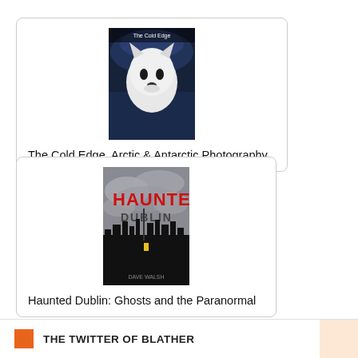[Figure (photo): Book cover of 'The Cold Edge, Arctic & Antarctic Photography' showing a polar bear or wolf against a dark blue arctic background]
The Cold Edge, Arctic & Antarctic Photography
[Figure (photo): Book cover of 'Haunted Dublin: Ghosts and the Paranormal' showing red graffiti-style 'HAUNTED DUBLIN' text over a dark city skyline silhouette against a cloudy sky]
Haunted Dublin: Ghosts and the Paranormal
THE TWITTER OF BLATHER